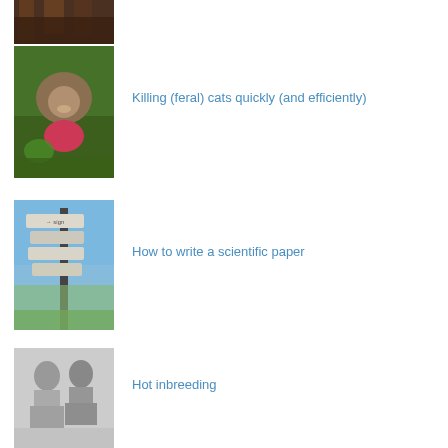[Figure (photo): Partial thumbnail of a dark outdoor scene, partially visible at top of page]
[Figure (photo): Thumbnail photo of a feral cat in green foliage with a pink flower]
Killing (feral) cats quickly (and efficiently)
[Figure (photo): Thumbnail photo of a signpost with multiple direction signs against a blue sky]
How to write a scientific paper
[Figure (photo): Thumbnail black and white photo of two people sitting]
Hot inbreeding
[Figure (illustration): Thumbnail colorful illustration of a beach scene with a sailfish]
The environmental Abbott-oir
[Figure (photo): Partial thumbnail partially visible at bottom of page]